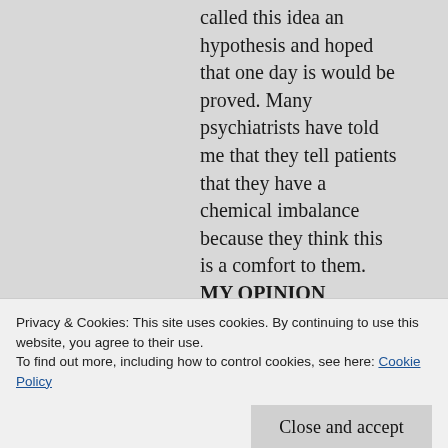called this idea an hypothesis and hoped that one day is would be proved. Many psychiatrists have told me that they tell patients that they have a chemical imbalance because they think this is a comfort to them. MY OPINION Whether patients want to be told a tooth fairy kind of lie is debatable.
FACT Last year the Royal College of Psychiatrists dropped any reference to chemical imbalance from their website. If you look up the fact sheet on depression which is on their website you will see that factors such as circumstances and life
Privacy & Cookies: This site uses cookies. By continuing to use this website, you agree to their use.
To find out more, including how to control cookies, see here: Cookie Policy
Close and accept
generations in a family does not prove